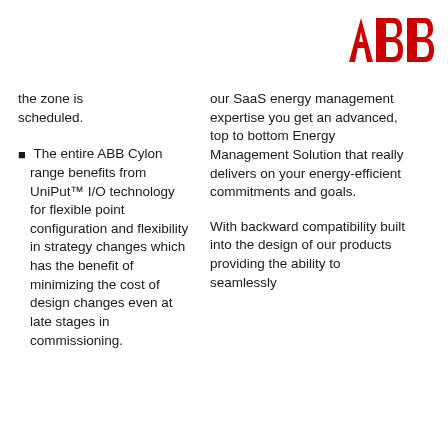[Figure (logo): ABB logo in red — three bold letters A, B, B in red on white background]
the zone is scheduled.
The entire ABB Cylon range benefits from UniPut™ I/O technology for flexible point configuration and flexibility in strategy changes which has the benefit of minimizing the cost of design changes even at late stages in commissioning.
our SaaS energy management expertise you get an advanced, top to bottom Energy Management Solution that really delivers on your energy-efficient commitments and goals.
With backward compatibility built into the design of our products providing the ability to seamlessly